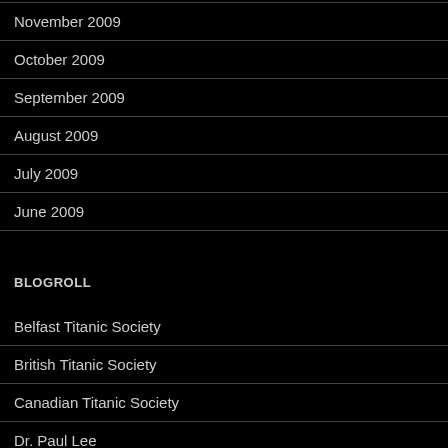November 2009
October 2009
September 2009
August 2009
July 2009
June 2009
BLOGROLL
Belfast Titanic Society
British Titanic Society
Canadian Titanic Society
Dr. Paul Lee